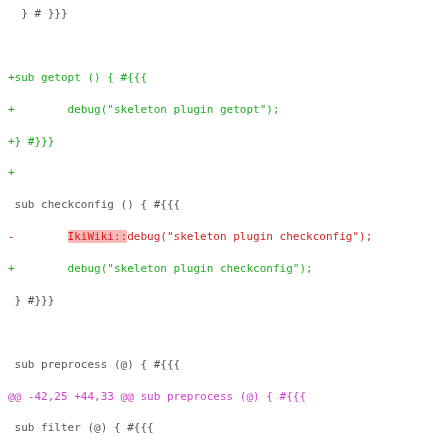Code diff showing changes to Perl plugin skeleton, including modifications to getopt, checkconfig, preprocess, filter, and htmlize subroutines, with IkiWiki:: namespace prefix removals and parameter style changes.